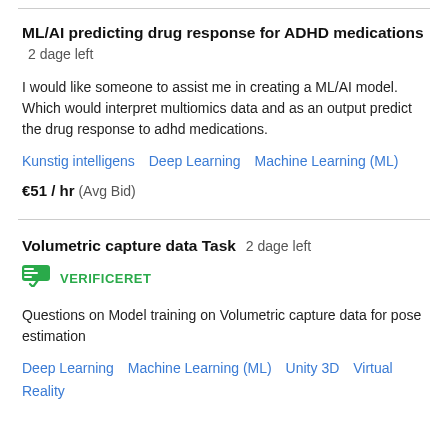ML/AI predicting drug response for ADHD medications  2 dage left
I would like someone to assist me in creating a ML/AI model. Which would interpret multiomics data and as an output predict the drug response to adhd medications.
Kunstig intelligens  Deep Learning  Machine Learning (ML)
€51 / hr  (Avg Bid)
Volumetric capture data Task  2 dage left
VERIFICERET
Questions on Model training on Volumetric capture data for pose estimation
Deep Learning  Machine Learning (ML)  Unity 3D  Virtual Reality